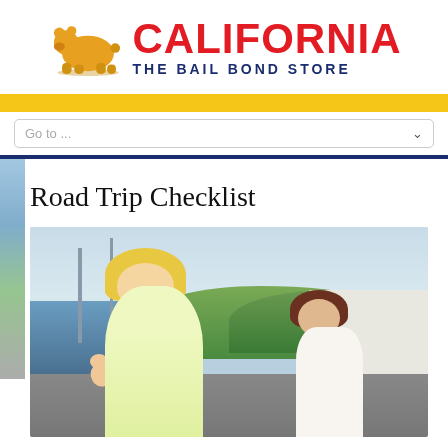[Figure (logo): California The Bail Bond Store logo with golden bear silhouette and red CALIFORNIA text]
[Figure (other): Navigation dropdown bar with 'Go to ...' placeholder text]
Road Trip Checklist
[Figure (photo): Two women on a road trip - a blonde woman in yellow top giving a thumbs up in the foreground, and a brunette woman in a white top talking on a phone in the background, with trees, water, and cranes visible]